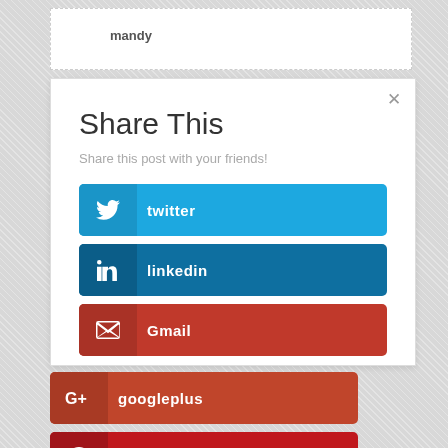mandy
Share This
Share this post with your friends!
twitter
linkedin
Gmail
googleplus
pinterest
facebook